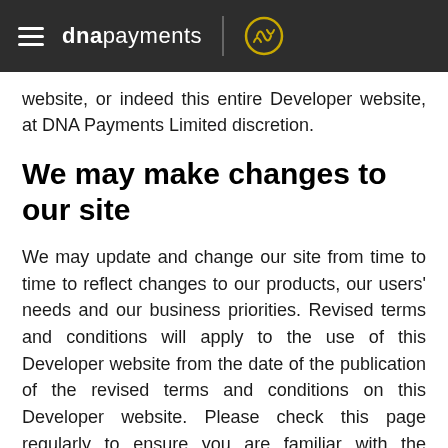dna payments
website, or indeed this entire Developer website, at DNA Payments Limited discretion.
We may make changes to our site
We may update and change our site from time to time to reflect changes to our products, our users' needs and our business priorities. Revised terms and conditions will apply to the use of this Developer website from the date of the publication of the revised terms and conditions on this Developer website. Please check this page regularly to ensure you are familiar with the current version. These terms were updated on 30th